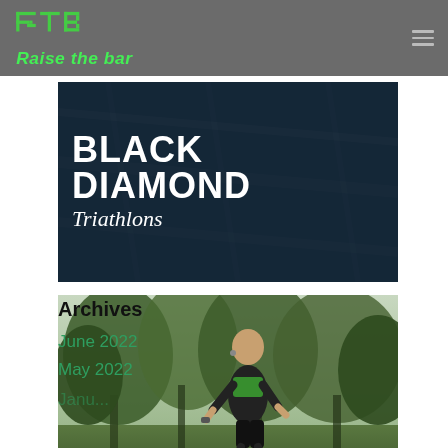Raise the Bar — navigation header with logo and hamburger menu
[Figure (photo): Black Diamond Triathlons promotional image with bold white text on dark blue/black background reading BLACK DIAMOND Triathlons]
[Figure (photo): Outdoor photo of a bald man running in a green and black athletic outfit through a wooded area]
Archives
June 2022
May 2022